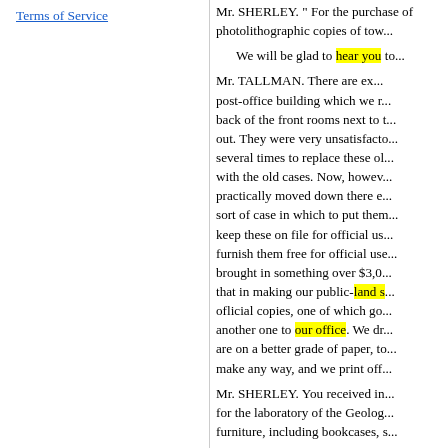Terms of Service
Mr. SHERLEY. " For the purchase of photolithographic copies of tow...
We will be glad to hear you to...
Mr. TALLMAN. There are ex... post-office building which we r... back of the front rooms next to... out. They were very unsatisfacto... several times to replace these ol... with the old cases. Now, howev... practically moved down there e... sort of case in which to put them... keep these on file for official us... furnish them free for official use... brought in something over $3,0... that in making our public-land s... official copies, one of which go... another one to our office. We dr... are on a better grade of paper, to... make any way, and we print off...
Mr. SHERLEY. You received in... for the laboratory of the Geolog... furniture, including bookcases, s...